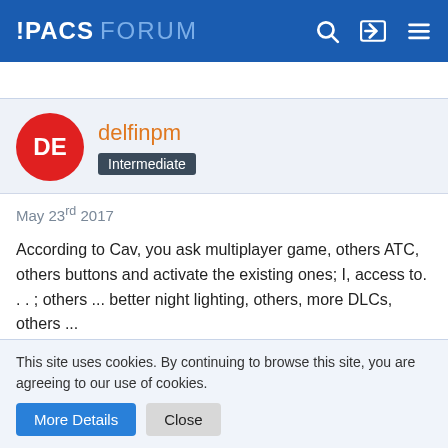IPACS FORUM
delfinpm
Intermediate
May 23rd 2017
According to Cav, you ask multiplayer game, others ATC, others buttons and activate the existing ones; I, access to. . . ; others ... better night lighting, others, more DLCs, others ...
We all demand really important and very desirable requests and wishes, but IPACs have their own work script, which will sometimes change if any of our requests is really very
This site uses cookies. By continuing to browse this site, you are agreeing to our use of cookies.